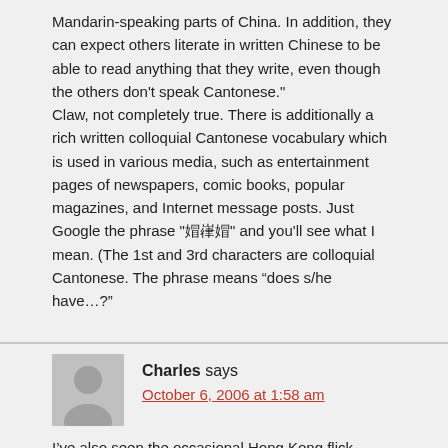Mandarin-speaking parts of China. In addition, they can expect others literate in written Chinese to be able to read anything that they write, even though the others don't speak Cantonese."
Claw, not completely true. There is additionally a rich written colloquial Cantonese vocabulary which is used in various media, such as entertainment pages of newspapers, comic books, popular magazines, and Internet message posts. Just Google the phrase "屢岩屢" and you'll see what I mean. (The 1st and 3rd characters are colloquial Cantonese. The phrase means “does s/he have…?”
Charles says
October 6, 2006 at 1:58 am
I’ve also seen the occasional Hong Kong flick subtitled